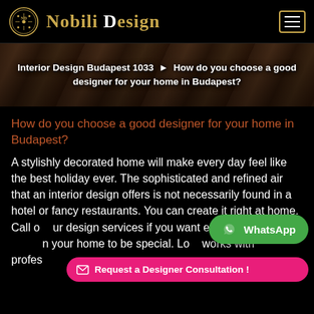Nobili Design
[Figure (screenshot): Hero image with interior design living room background, breadcrumb navigation overlay]
Interior Design Budapest 1033 ▶ How do you choose a good designer for your home in Budapest?
How do you choose a good designer for your home in Budapest?
A stylishly decorated home will make every day feel like the best holiday ever. The sophisticated and refined air that an interior design offers is not necessarily found in a hotel or fancy restaurants. You can create it right at home. Call our design services if you want every day in your home to be special. Lo... works with professionalism and passion. Choose the best interior for your home...
[Figure (other): WhatsApp floating button (green pill)]
[Figure (other): Request a Designer Consultation floating button (pink/magenta pill)]